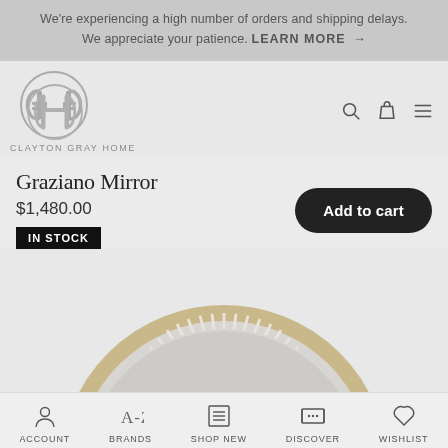We're experiencing a high number of orders and shipping delays. We appreciate your patience. LEARN MORE →
[Figure (logo): Clayton Gray Home logo — interlocking CH monogram in grey circle with brand name below]
Graziano Mirror
$1,480.00
IN STOCK
Add to cart
[Figure (photo): Top portion of Graziano Mirror — circular mirror with decorative gold/brass frame featuring vertical slat pattern, shown cropped at bottom of product section]
ACCOUNT   BRANDS   SHOP NEW   DISCOVER   WISHLIST